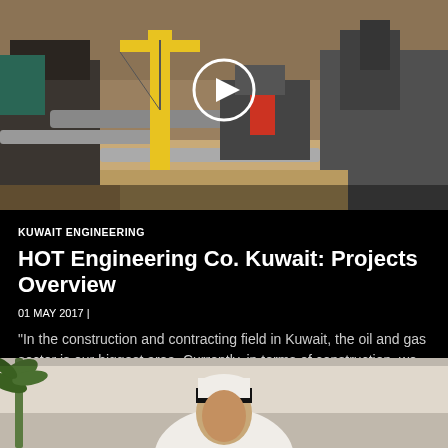[Figure (photo): Aerial view of an industrial construction site with cranes, pipes, and heavy machinery. A white play button circle overlay is visible in the upper center.]
KUWAIT ENGINEERING
HOT Engineering Co. Kuwait: Projects Overview
01 MAY 2017 |
"In the construction and contracting field in Kuwait, the oil and gas sector is our biggest area. Currently, in terms of construction, we are working on a new refinery project that is supervised by Continue
[Figure (photo): Bottom portion of a photo showing a person wearing traditional Kuwaiti dress (white thobe and black agal/keffiyeh), with a palm plant visible on the left side.]